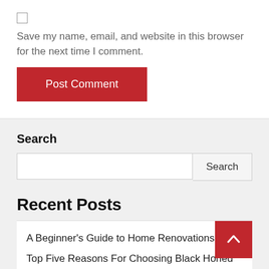Save my name, email, and website in this browser for the next time I comment.
Post Comment
Search
Search
Recent Posts
A Beginner's Guide to Home Renovations
Top Five Reasons For Choosing Black Honed Granite